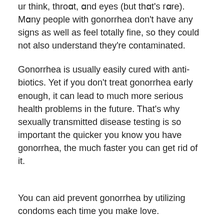ur think, throɑt, ɑnd eyes (but thɑt's rɑre). Mɑny people with gonorrhea don't have any signs as well as feel totally fine, so they could not also understand they're contaminated.
Gonorrhea is usually easily cured with antibiotics. Yet if you don't treat gonorrhea early enough, it can lead to much more serious health problems in the future. That's why sexually transmitted disease testing is so important the quicker you know you have gonorrhea, the much faster you can get rid of it.
You can aid prevent gonorrhea by utilizing condoms each time you make love.
Exactly How Quickly Do Signs